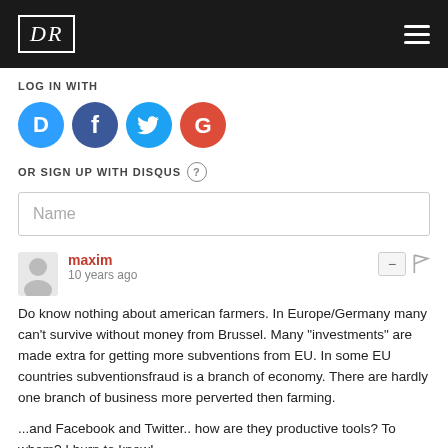DR
LOG IN WITH
[Figure (other): Social login icons: Disqus (blue D), Facebook (dark blue f), Twitter (light blue bird), Google (red G)]
OR SIGN UP WITH DISQUS ?
Name
maxim
10 years ago
Do know nothing about american farmers. In Europe/Germany many can't survive without money from Brussel. Many "investments" are made extra for getting more subventions from EU. In some EU countries subventionsfraud is a branch of economy. There are hardly one branch of business more perverted then farming.

...and Facebook and Twitter.. how are they productive tools? To whom? I burn to know!